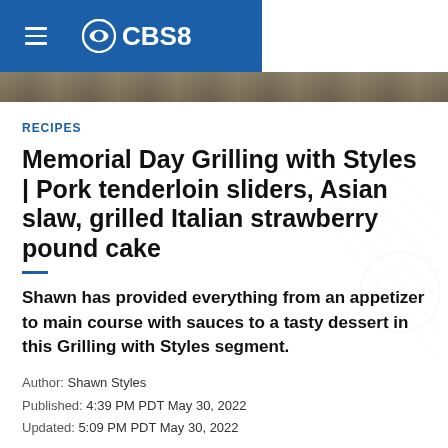CBS8
[Figure (photo): Partial photo visible behind header area, dark muted tones]
RECIPES
Memorial Day Grilling with Styles | Pork tenderloin sliders, Asian slaw, grilled Italian strawberry pound cake
Shawn has provided everything from an appetizer to main course with sauces to a tasty dessert in this Grilling with Styles segment.
Author: Shawn Styles
Published: 4:39 PM PDT May 30, 2022
Updated: 5:09 PM PDT May 30, 2022
SAN DIEGO — What better way is there to celebrate